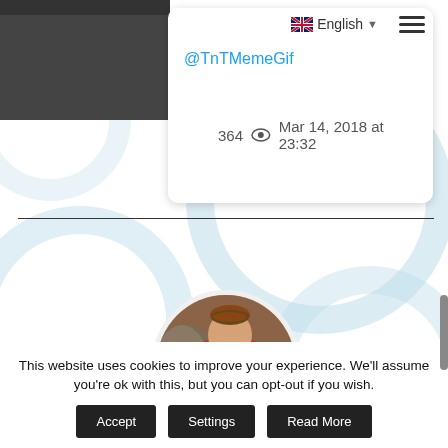[Figure (screenshot): Website screenshot showing a social media post card with @TnTMemeGif handle, TNT logo, language selector (English with UK flag), hamburger menu, 364 views, date Mar 14, 2018 at 23:32]
DICONO DI NOI..
[Figure (photo): Circular profile photo of Dante Alighieri classical painting, man in red robe holding a book]
This website uses cookies to improve your experience. We'll assume you're ok with this, but you can opt-out if you wish.
Accept
Settings
Read More